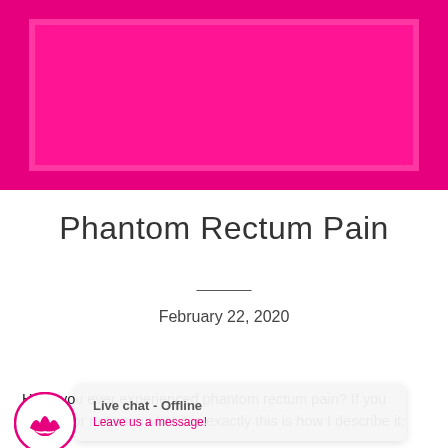[Figure (illustration): Hot pink/magenta image block placeholder with a bright pink rectangular inner area on a slightly darker pink background border]
Phantom Rectum Pain
February 22, 2020
Have you ever experienced phantom rectum pain? If you haven't or not sure what it is exactly this is how I describe it:
[Figure (other): Live chat widget overlay showing 'Live chat - Offline' with 'Leave us a message!' and a circular logo with a crown icon]